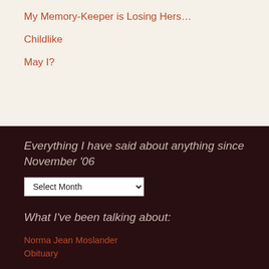My Memory-Keeper is Losing Hers…
Childlike
May I?
Everything I have said about anything since November '06
[Figure (other): Select Month dropdown widget]
What I've been talking about:
Norma Jean Moslander Obituary